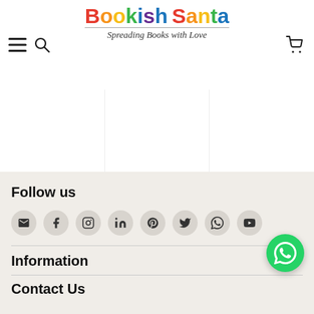[Figure (logo): Bookish Santa logo with colorful text and tagline 'Spreading Books with Love']
₹199.00  ₹159.00  |  ₹299.00  ₹239.00  |  Your Income  ₹299.00  ₹23...
Follow us
[Figure (infographic): Social media icons row: email, facebook, instagram, linkedin, pinterest, twitter, whatsapp, youtube]
Information
Contact Us
[Figure (other): WhatsApp floating action button (green circle with WhatsApp icon)]